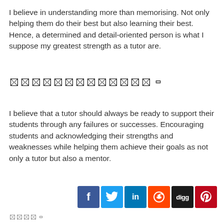I believe in understanding more than memorising. Not only helping them do their best but also learning their best. Hence, a determined and detail-oriented person is what I suppose my greatest strength as a tutor are.
🄿🄿🄿🄿🄿🄿🄿🄿🄿🄿🄿🄿
I believe that a tutor should always be ready to support their students through any failures or successes. Encouraging students and acknowledging their strengths and weaknesses while helping them achieve their goals as not only a tutor but also a mentor.
[Figure (infographic): Social sharing icons row: Facebook (blue), Twitter (cyan), LinkedIn (blue), Reddit (orange), Digg (black), Pinterest (red)]